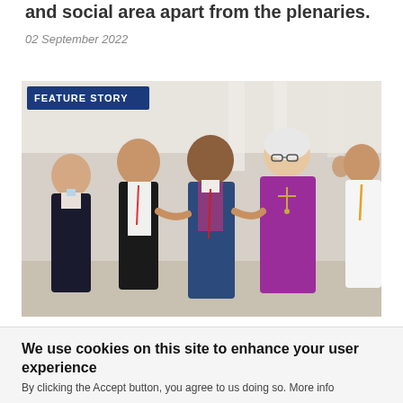and social area apart from the plenaries.
02 September 2022
[Figure (photo): Group of people smiling and walking together arm-in-arm at a conference event, wearing lanyards and conference badges. A woman in a purple/magenta dress with a cross necklace is prominent in the center-right. 'FEATURE STORY' badge overlaid in top-left corner.]
Morning prayer explores love for our
We use cookies on this site to enhance your user experience
By clicking the Accept button, you agree to us doing so. More info